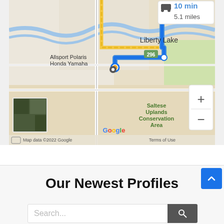[Figure (map): Google Maps screenshot showing a driving route of 10 min, 5.1 miles. Route goes through Liberty Lake area, passing Allsport Polaris Honda Yamaha. Shows Saltese Uplands Conservation Area. Map data ©2022 Google. Includes zoom controls (+/-) and satellite view thumbnail.]
Our Newest Profiles
Search...